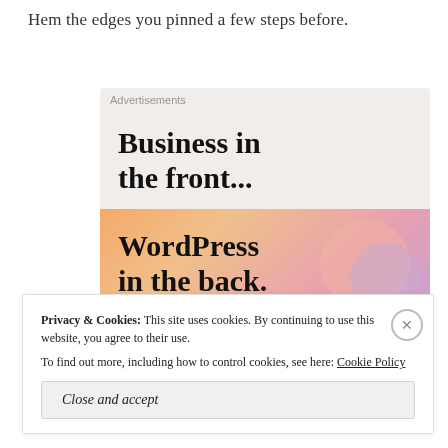Hem the edges you pinned a few steps before.
[Figure (screenshot): Advertisement banner showing 'Business in the front... WordPress in the back.' with an orange-pink gradient background and decorative blobs]
Privacy & Cookies: This site uses cookies. By continuing to use this website, you agree to their use. To find out more, including how to control cookies, see here: Cookie Policy
Close and accept